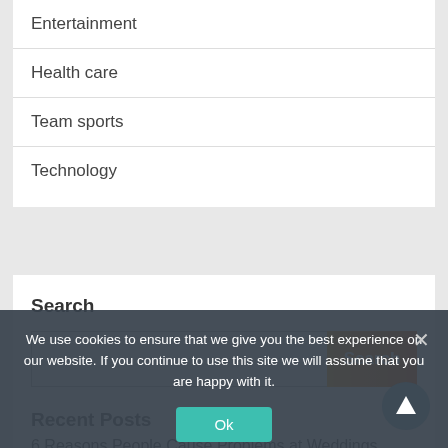Entertainment
Health care
Team sports
Technology
Search
Recent Posts
6 Reasons People Cause Problems at Weddings
We use cookies to ensure that we give you the best experience on our website. If you continue to use this site we will assume that you are happy with it.